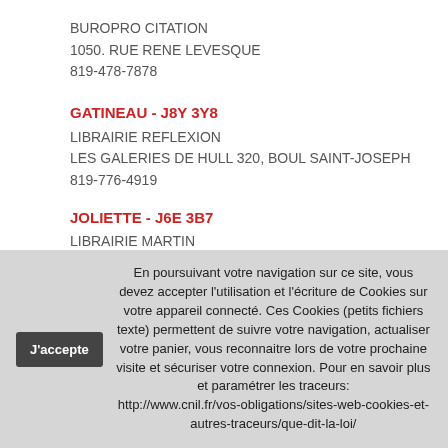BUROPRO CITATION
1050. RUE RENE LEVESQUE
819-478-7878
GATINEAU - J8Y 3Y8
LIBRAIRIE REFLEXION
LES GALERIES DE HULL 320, BOUL SAINT-JOSEPH
819-776-4919
JOLIETTE - J6E 3B7
LIBRAIRIE MARTIN
598, RUE ST-VIATEUR
450-759-2822
JONQUIERE - G7X 6L8
En poursuivant votre navigation sur ce site, vous devez accepter l'utilisation et l'écriture de Cookies sur votre appareil connecté. Ces Cookies (petits fichiers texte) permettent de suivre votre navigation, actualiser votre panier, vous reconnaitre lors de votre prochaine visite et sécuriser votre connexion. Pour en savoir plus et paramétrer les traceurs: http://www.cnil.fr/vos-obligations/sites-web-cookies-et-autres-traceurs/que-dit-la-loi/